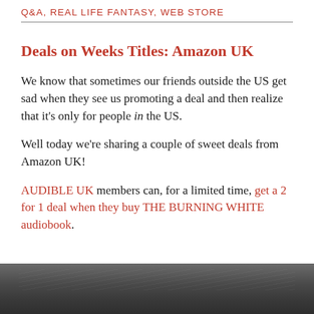Q&A, REAL LIFE FANTASY, WEB STORE
Deals on Weeks Titles: Amazon UK
We know that sometimes our friends outside the US get sad when they see us promoting a deal and then realize that it's only for people in the US.
Well today we're sharing a couple of sweet deals from Amazon UK!
AUDIBLE UK members can, for a limited time, get a 2 for 1 deal when they buy THE BURNING WHITE audiobook.
[Figure (photo): Grayscale photo of a book or dark textured surface, partially visible at bottom of page]